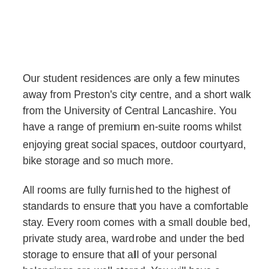Our student residences are only a few minutes away from Preston's city centre, and a short walk from the University of Central Lancashire. You have a range of premium en-suite rooms whilst enjoying great social spaces, outdoor courtyard, bike storage and so much more.
All rooms are fully furnished to the highest of standards to ensure that you have a comfortable stay. Every room comes with a small double bed, private study area, wardrobe and under the bed storage to ensure that all of your personal belongings are well stored. You will have a personal shower, so no queuing up in the morning to get dressed. The common kitchen and living area is great to